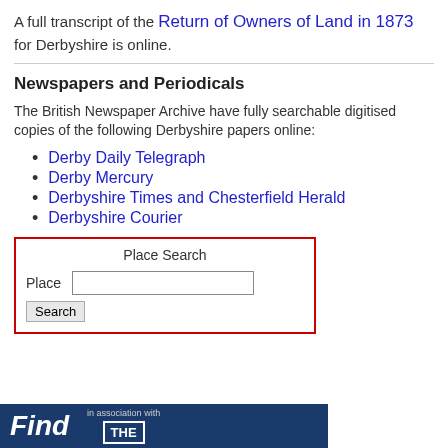A full transcript of the Return of Owners of Land in 1873 for Derbyshire is online.
Newspapers and Periodicals
The British Newspaper Archive have fully searchable digitised copies of the following Derbyshire papers online:
Derby Daily Telegraph
Derby Mercury
Derbyshire Times and Chesterfield Herald
Derbyshire Courier
Place Search — Place [input] Search [button]
[Figure (screenshot): Footer banner with 'Find' text and 'in association with THE' box on dark blue background]